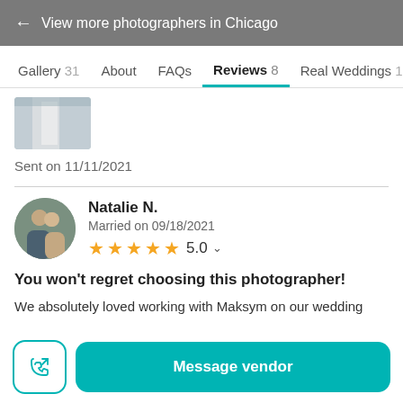← View more photographers in Chicago
Gallery 31  About  FAQs  Reviews 8  Real Weddings 1
[Figure (photo): Partial thumbnail of a wedding photo showing a dress]
Sent on 11/11/2021
Natalie N.
Married on 09/18/2021
★★★★★ 5.0
You won't regret choosing this photographer!
We absolutely loved working with Maksym on our wedding
Message vendor